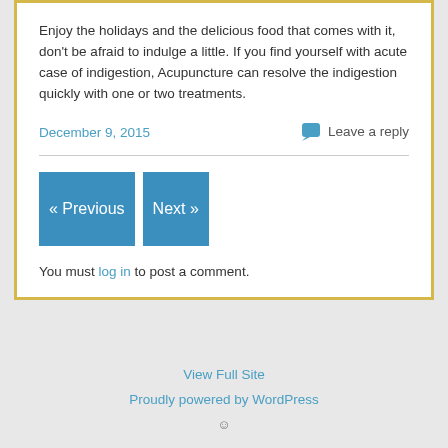Enjoy the holidays and the delicious food that comes with it, don't be afraid to indulge a little. If you find yourself with acute case of indigestion, Acupuncture can resolve the indigestion quickly with one or two treatments.
December 9, 2015
Leave a reply
« Previous
Next »
You must log in to post a comment.
View Full Site
Proudly powered by WordPress